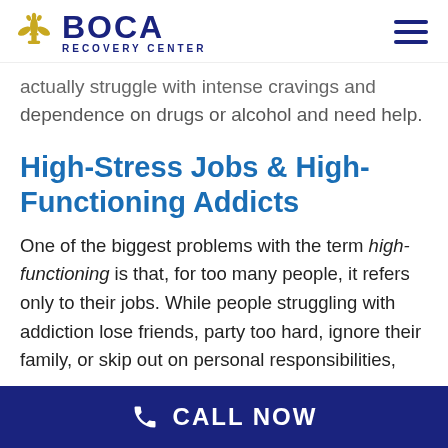BOCA RECOVERY CENTER
actually struggle with intense cravings and dependence on drugs or alcohol and need help.
High-Stress Jobs & High-Functioning Addicts
One of the biggest problems with the term high-functioning is that, for too many people, it refers only to their jobs. While people struggling with addiction lose friends, party too hard, ignore their family, or skip out on personal responsibilities,
CALL NOW